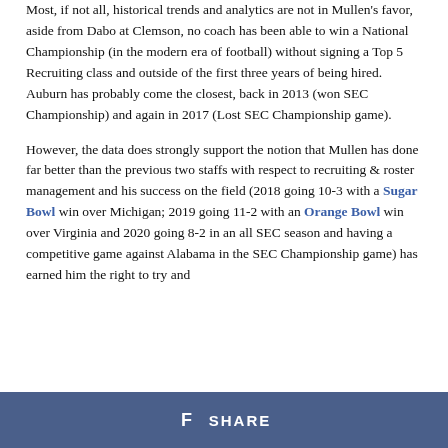Most, if not all, historical trends and analytics are not in Mullen's favor, aside from Dabo at Clemson, no coach has been able to win a National Championship (in the modern era of football) without signing a Top 5 Recruiting class and outside of the first three years of being hired. Auburn has probably come the closest, back in 2013 (won SEC Championship) and again in 2017 (Lost SEC Championship game).
However, the data does strongly support the notion that Mullen has done far better than the previous two staffs with respect to recruiting & roster management and his success on the field (2018 going 10-3 with a Sugar Bowl win over Michigan; 2019 going 11-2 with an Orange Bowl win over Virginia and 2020 going 8-2 in an all SEC season and having a competitive game against Alabama in the SEC Championship game) has earned him the right to try and
SHARE